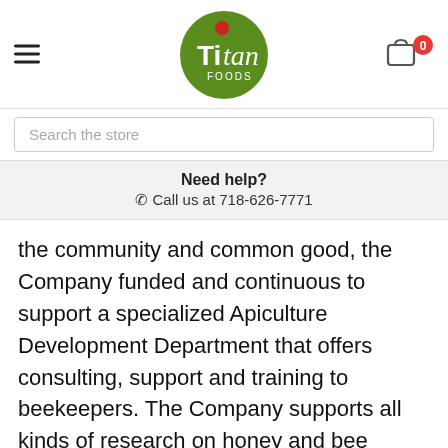[Figure (logo): Titan Foods circular green logo with red dot and white text]
Search the store
Need help?
☎ Call us at 718-626-7771
the community and common good, the Company funded and continuous to support a specialized Apiculture Development Department that offers consulting, support and training to beekeepers. The Company supports all kinds of research on honey and bee products, and is constantly supporting research in foreign markets, collaborating with academic and research